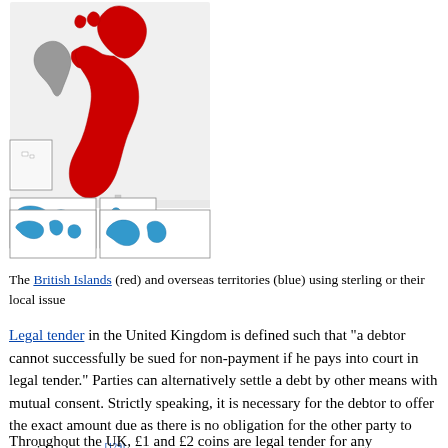[Figure (map): Map of the British Isles showing the British Islands in red and overseas territories in blue. The main island of Great Britain and Northern Ireland are shown in red, the Republic of Ireland in grey. Inset maps show overseas territories (Falkland Islands, etc.) in blue.]
The British Islands (red) and overseas territories (blue) using sterling or their local issue
Legal tender in the United Kingdom is defined such that "a debtor cannot successfully be sued for non-payment if he pays into court in legal tender." Parties can alternatively settle a debt by other means with mutual consent. Strictly speaking, it is necessary for the debtor to offer the exact amount due as there is no obligation for the other party to provide change.[129]
Throughout the UK, £1 and £2 coins are legal tender for any